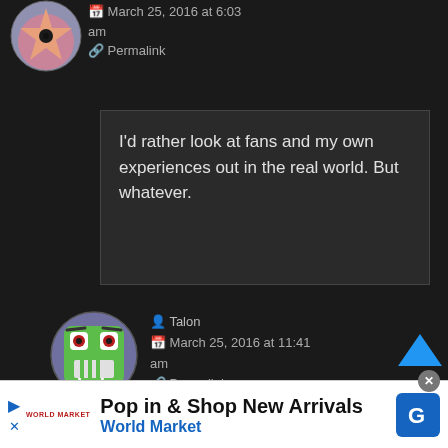[Figure (illustration): Partial avatar icon of a star-shaped character, pink/orange tones, cropped at top]
March 25, 2016 at 6:03 am
% Permalink
I'd rather look at fans and my own experiences out in the real world. But whatever.
[Figure (illustration): Avatar of a scared green face character with wide eyes and teeth, in a spherical frame]
Talon
March 25, 2016 at 11:41 am
% Permalink
There are fans and critics that
[Figure (other): Blue upward chevron scroll-to-top button]
Pop in & Shop New Arrivals
World Market